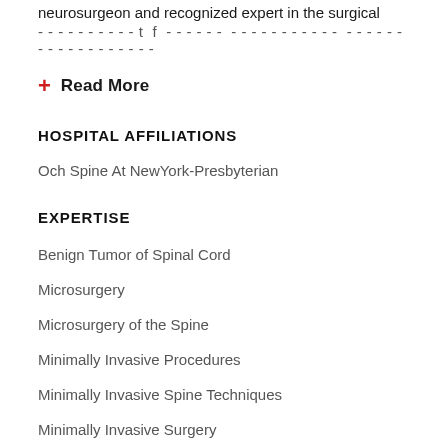neurosurgeon and recognized expert in the surgical management of spinal disorders including spinal cord...
+ Read More
HOSPITAL AFFILIATIONS
Och Spine At NewYork-Presbyterian
EXPERTISE
Benign Tumor of Spinal Cord
Microsurgery
Microsurgery of the Spine
Minimally Invasive Procedures
Minimally Invasive Spine Techniques
Minimally Invasive Surgery